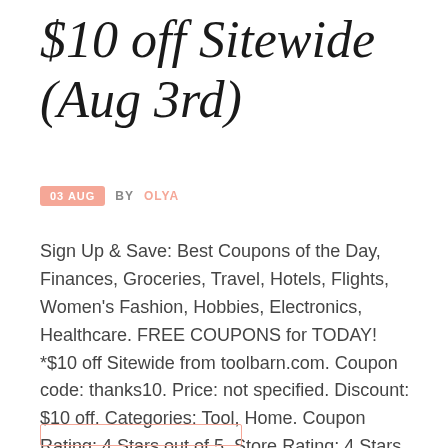$10 off Sitewide (Aug 3rd)
03 AUG  BY OLYA
Sign Up & Save: Best Coupons of the Day, Finances, Groceries, Travel, Hotels, Flights, Women's Fashion, Hobbies, Electronics, Healthcare. FREE COUPONS for TODAY! *$10 off Sitewide from toolbarn.com. Coupon code: thanks10. Price: not specified. Discount: $10 off. Categories: Tool, Home. Coupon Rating: 4 Stars out of 5. Store Rating: 4 Stars out of 5. Coupon Recommendation: [...]
[Figure (other): Read more button outline at bottom of page]